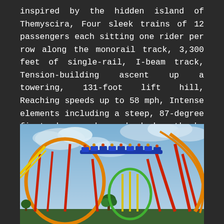inspired by the hidden island of Themyscira, Four sleek trains of 12 passengers each sitting one rider per row along the monorail track, 3,300 feet of single-rail, I-beam track, Tension-building ascent up a towering, 131-foot lift hill, Reaching speeds up to 58 mph, Intense elements including a steep, 87-degree first drop and overbanked cutback, and Three dramatic inversions including a 180-degree stall, raven dive, and zero-gravity roll.
[Figure (photo): Rendering or photo of a roller coaster with red, orange, yellow, and green track elements set against a cloudy blue sky. A train of riders in blue cars is visible at the top of the structure.]